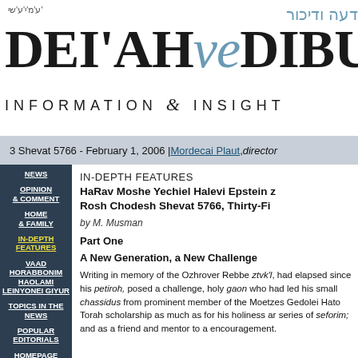DEI'AH veDIBUR — INFORMATION & INSIGHT
3 Shevat 5766 - February 1, 2006 | Mordecai Plaut, director
NEWS
OPINION & COMMENT
HOME & FAMILY
IN-DEPTH FEATURES
VAAD HORABBONIM HAOLAMI LEINYONEI GIYUR
TOPICS IN THE NEWS
POPULAR EDITORIALS
HOMEPAGE
IN-DEPTH FEATURES
HaRav Moshe Yechiel Halevi Epstein zt"l Rosh Chodesh Shevat 5766, Thirty-Fi...
by M. Musman
Part One
A New Generation, a New Challenge
Writing in memory of the Ozhrover Rebbe ztvk'l, had elapsed since his petiroh, posed a challenge, holy gaon who had led his small chassidus from prominent member of the Moetses Gedolei Hato, Torah scholarship as much as for his holiness ar series of seforim; and as a friend and mentor to encouragement.